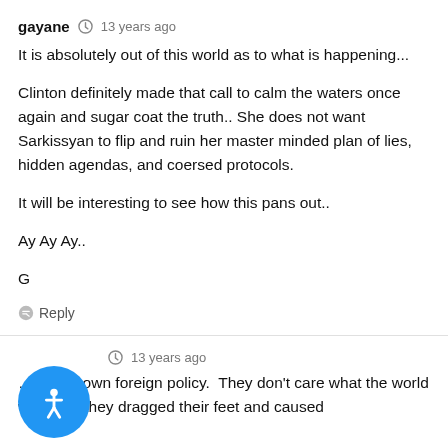gayane  13 years ago
It is absolutely out of this world as to what is happening...

Clinton definitely made that call to calm the waters once again and sugar coat the truth.. She does not want Sarkissyan to flip and ruin her master minded plan of lies, hidden agendas, and coersed protocols.

It will be interesting to see how this pans out..

Ay Ay Ay..

G
Reply
13 years ago
...has its own foreign policy.  They don't care what the world will say if they dragged their feet and caused